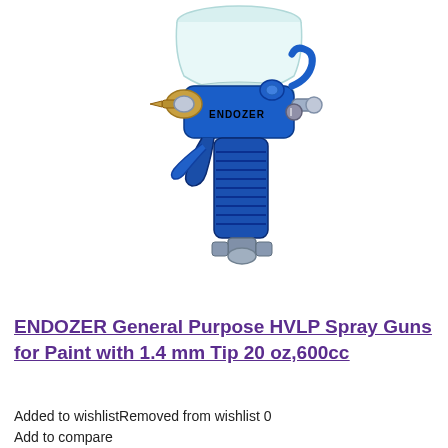[Figure (photo): An ENDOZER brand HVLP spray gun with blue metallic body and a clear/white plastic paint cup attached on top. The gun has a ribbed grip handle, trigger, air adjustment knob, and a brass nozzle tip on the left side.]
ENDOZER General Purpose HVLP Spray Guns for Paint with 1.4 mm Tip 20 oz,600cc
Added to wishlistRemoved from wishlist 0
Add to compare